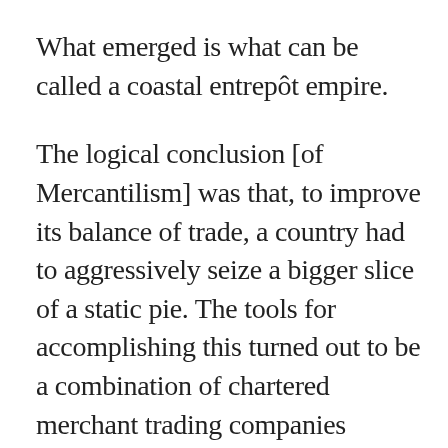What emerged is what can be called a coastal entrepôt empire.
The logical conclusion [of Mercantilism] was that, to improve its balance of trade, a country had to aggressively seize a bigger slice of a static pie. The tools for accomplishing this turned out to be a combination of chartered merchant trading companies backed by well-armed navies.
The middle decades of the seventeenth century saw a rapid evolution, away from the ad hoc organization and heterogeneous collections of